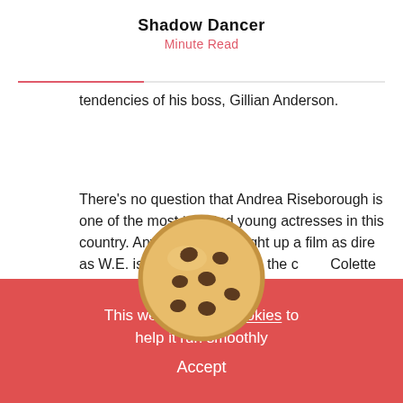Shadow Dancer
Minute Read
tendencies of his boss, Gillian Anderson.
There's no question that Andrea Riseborough is one of the most talented young actresses in this country. Anyone who can light up a film as dire as W.E. is a special talent. In the c Colette McVeigh, she is outstanding as a w aught between
[Figure (photo): Chocolate chip cookie image used as part of a cookie consent overlay]
This website uses cookies to help it run smoothly
Accept